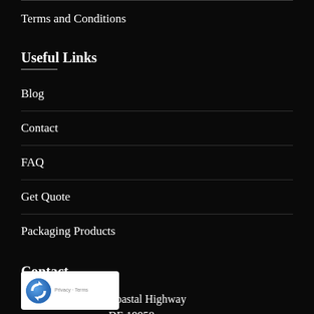Terms and Conditions
Useful Links
Blog
Contact
FAQ
Get Quote
Packaging Products
Contact
Coastal Highway
DE 19958
[Figure (logo): reCAPTCHA badge with Google logo and 'Privacy · Terms' text]